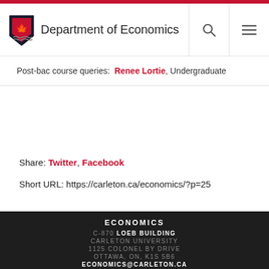Department of Economics
Post-bac course queries: Renee Lortie, Undergraduate
Share: Twitter, Facebook
Short URL: https://carleton.ca/economics/?p=25
ECONOMICS C-870 LOEB BUILDING CARLETON UNIVERSITY 1125 COLONEL BY DRIVE OTTAWA, ON, K1S 5B6 ECONOMICS@CARLETON.CA PHONE: 613-520-3744